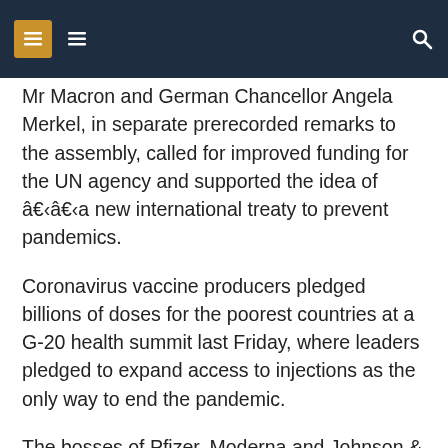[navigation header with menu icons and search]
Mr Macron and German Chancellor Angela Merkel, in separate prerecorded remarks to the assembly, called for improved funding for the UN agency and supported the idea of â€‹â€‹a new international treaty to prevent pandemics.
Coronavirus vaccine producers pledged billions of doses for the poorest countries at a G-20 health summit last Friday, where leaders pledged to expand access to injections as the only way to end the pandemic.
The bosses of Pfizer, Moderna and Johnson & Johnson have announced that they will provide around 3.5 billion doses of the vaccine at cost or at a discount to low- and middle-income countries this year and next.
The European Union has pledged to donate 100 million doses and invest in regional manufacturing centers in Africa to